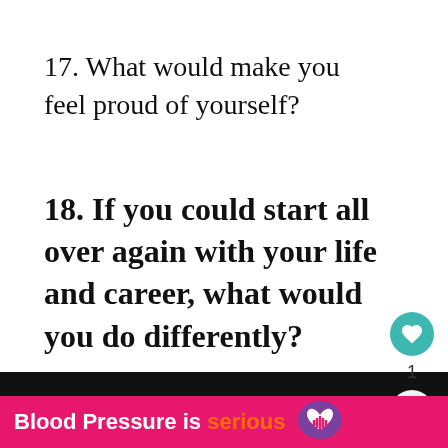17. What would make you feel proud of yourself?
18. If you could start all over again with your life and career, what would you do differently?
19. If you feel that you might know w…
[Figure (other): Blood Pressure is serious advertisement banner with heart logo]
[Figure (other): Heart/like button (teal circle with white heart icon) showing count of 1, and a share button below]